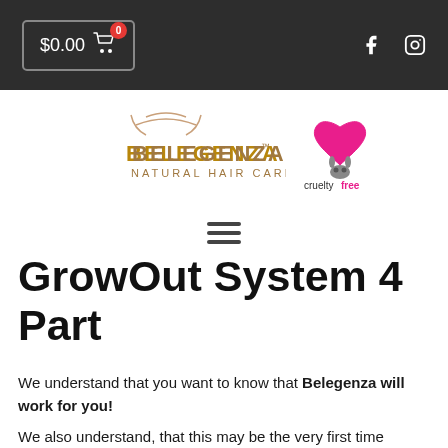$0.00 0 [cart icon] | [facebook icon] [instagram icon]
[Figure (logo): Belegenza Natural Hair Care logo with cruelty free certification logo]
[Figure (other): Hamburger menu icon (three horizontal lines)]
GrowOut System 4 Part
We understand that you want to know that Belegenza will work for you!
We also understand, that this may be the very first time